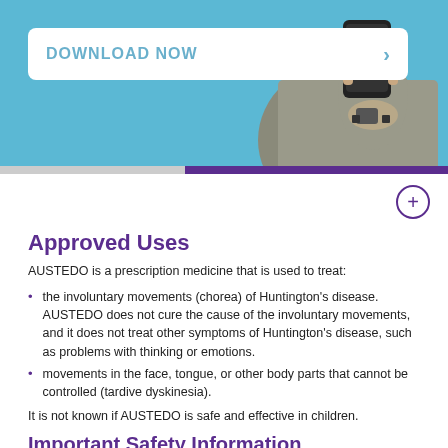[Figure (photo): Hero banner with blue background and a person holding a smartphone, wearing a grey cardigan. A white rounded rectangle button reads 'DOWNLOAD NOW' with a right-arrow chevron.]
Approved Uses
AUSTEDO is a prescription medicine that is used to treat:
the involuntary movements (chorea) of Huntington’s disease. AUSTEDO does not cure the cause of the involuntary movements, and it does not treat other symptoms of Huntington’s disease, such as problems with thinking or emotions.
movements in the face, tongue, or other body parts that cannot be controlled (tardive dyskinesia).
It is not known if AUSTEDO is safe and effective in children.
Important Safety Information
AUSTEDO can cause serious side effects in people with Huntington’s disease, including: depression, suicidal thoughts, or suicidal actions. Do not start taking AUSTEDO if you are depressed (have untreated depression or depression that is not